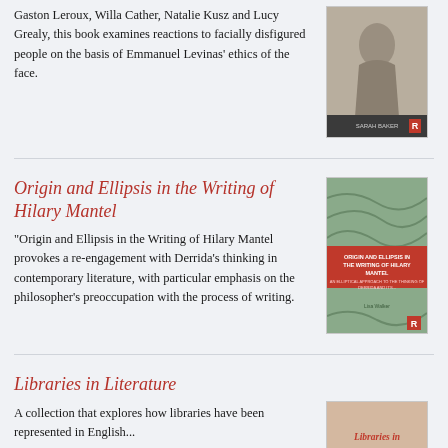Gaston Leroux, Willa Cather, Natalie Kusz and Lucy Grealy, this book examines reactions to facially disfigured people on the basis of Emmanuel Levinas' ethics of the face.
[Figure (illustration): Book cover image - dark/classical figure illustration]
Origin and Ellipsis in the Writing of Hilary Mantel
"Origin and Ellipsis in the Writing of Hilary Mantel provokes a re-engagement with Derrida's thinking in contemporary literature, with particular emphasis on the philosopher's preoccupation with the process of writing.
[Figure (illustration): Book cover - Origin and Ellipsis in the Writing of Hilary Mantel, green patterned cover with red band]
Libraries in Literature
A collection that explores how libraries have been represented in English...
[Figure (illustration): Book cover - Libraries in Literature, partial view]